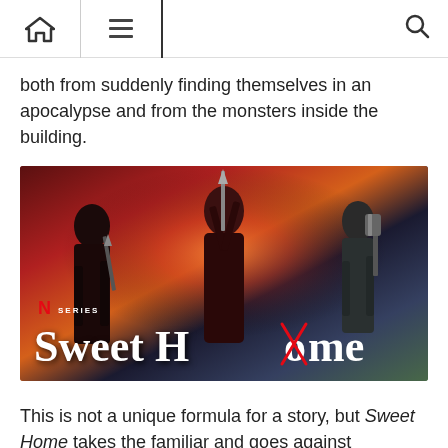Navigation bar with home, menu, and search icons
both from suddenly finding themselves in an apocalypse and from the monsters inside the building.
[Figure (photo): Promotional poster for Netflix series Sweet Home, showing three characters holding weapons against a dark dramatic background. The title 'Sweet Home' is displayed in large white serif text at the bottom, with the 'o' in 'Home' crossed out with red lines. Netflix SERIES branding is visible.]
This is not a unique formula for a story, but Sweet Home takes the familiar and goes against expectations. Instead of some random event that